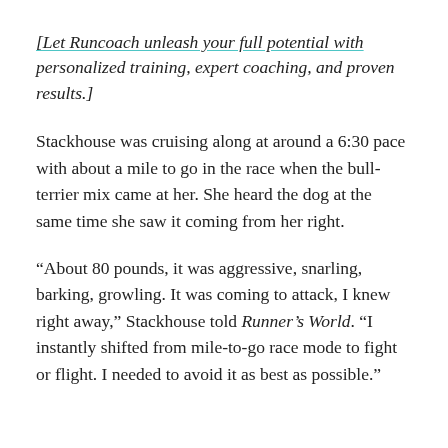[Let Runcoach unleash your full potential with personalized training, expert coaching, and proven results.]
Stackhouse was cruising along at around a 6:30 pace with about a mile to go in the race when the bull-terrier mix came at her. She heard the dog at the same time she saw it coming from her right.
“About 80 pounds, it was aggressive, snarling, barking, growling. It was coming to attack, I knew right away,” Stackhouse told Runner’s World. “I instantly shifted from mile-to-go race mode to fight or flight. I needed to avoid it as best as possible.”